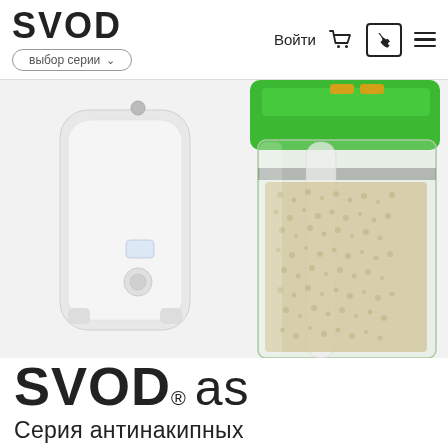SVOD — выбор серии — Войти [cart] [phone] [menu]
[Figure (photo): Product photo showing a white water heater/filter device on the left and a green-capped transparent water filter canister filled with granular filtration media on the right, against a white background.]
SVOD® as
Серия антинакипных